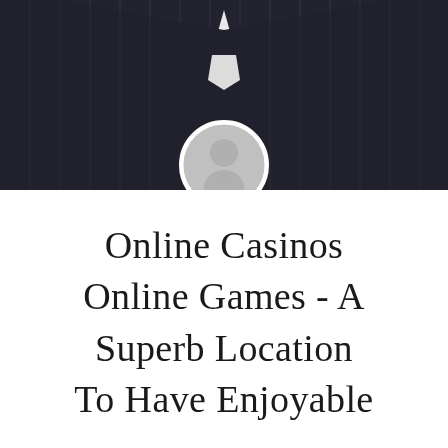[Figure (photo): Photo of a man in a dark pinstripe suit with a gold/brown tie, cropped to show chest and lower face area. A circular grey placeholder avatar icon overlaps the bottom center of the photo.]
Online Casinos Online Games - A Superb Location To Have Enjoyable